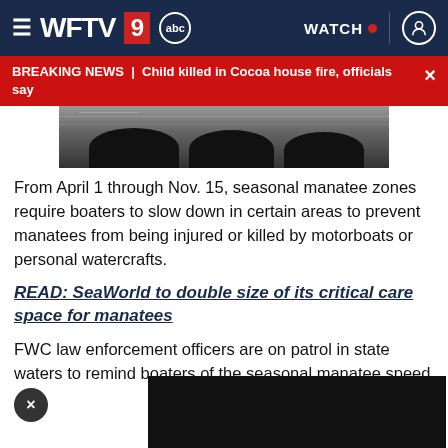WFTV 9 abc — WATCH
BREAKING NEWS | Child killed in Cocoa house fire, officials say
[Figure (photo): Partial image showing dark silhouettes of manatees near water surface]
From April 1 through Nov. 15, seasonal manatee zones require boaters to slow down in certain areas to prevent manatees from being injured or killed by motorboats or personal watercrafts.
READ: SeaWorld to double size of its critical care space for manatees
FWC law enforcement officers are on patrol in state waters to remind boaters of the seasonal manatee speed